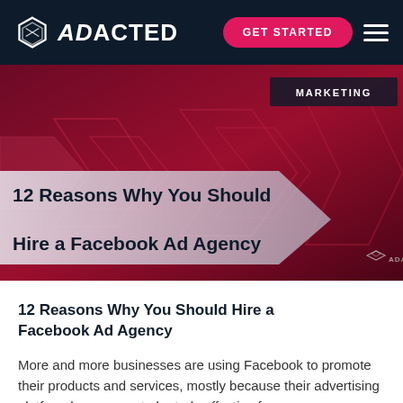ADACTED — GET STARTED
[Figure (screenshot): Hero banner image with dark red geometric hexagon/arrow shapes, title overlay reading '12 Reasons Why You Should Hire a Facebook Ad Agency', and a 'MARKETING' badge in the top right, ADACTED watermark bottom right.]
12 Reasons Why You Should Hire a Facebook Ad Agency
More and more businesses are using Facebook to promote their products and services, mostly because their advertising platform has proven to be truly effective for